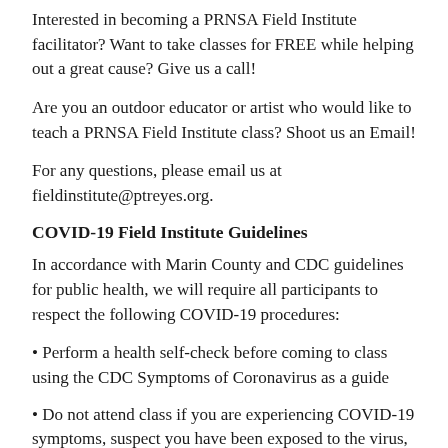Interested in becoming a PRNSA Field Institute facilitator? Want to take classes for FREE while helping out a great cause? Give us a call!
Are you an outdoor educator or artist who would like to teach a PRNSA Field Institute class? Shoot us an Email!
For any questions, please email us at fieldinstitute@ptreyes.org.
COVID-19 Field Institute Guidelines
In accordance with Marin County and CDC guidelines for public health, we will require all participants to respect the following COVID-19 procedures:
• Perform a health self-check before coming to class using the CDC Symptoms of Coronavirus as a guide
• Do not attend class if you are experiencing COVID-19 symptoms, suspect you have been exposed to the virus, or are